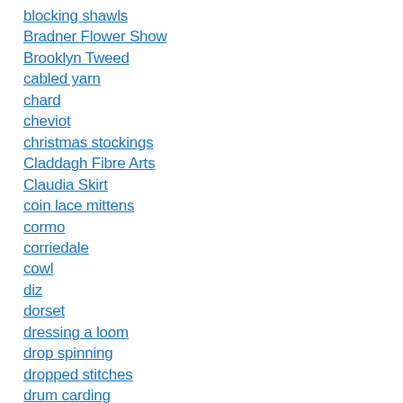blocking shawls
Bradner Flower Show
Brooklyn Tweed
cabled yarn
chard
cheviot
christmas stockings
Claddagh Fibre Arts
Claudia Skirt
coin lace mittens
cormo
corriedale
cowl
diz
dorset
dressing a loom
drop spinning
dropped stitches
drum carding